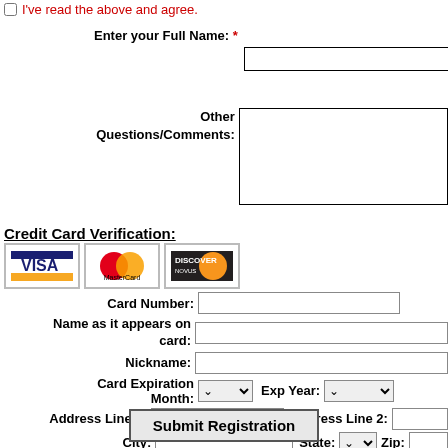I've read the above and agree.
Enter your Full Name: *
Other Questions/Comments:
Credit Card Verification:
[Figure (logo): VISA, Mastercard, and Discover payment card logos]
Card Number:
Name as it appears on card:
Nickname:
Card Expiration Month:
Exp Year:
Address Line 1:
Address Line 2:
City:
State:
Zip:
Submit Registration